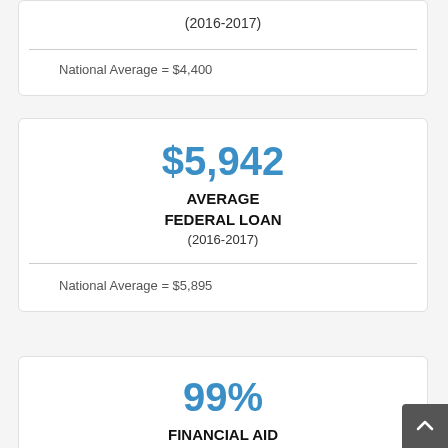(2016-2017)
National Average = $4,400
$5,942 AVERAGE FEDERAL LOAN (2016-2017)
National Average = $5,895
99% FINANCIAL AID AWARDED